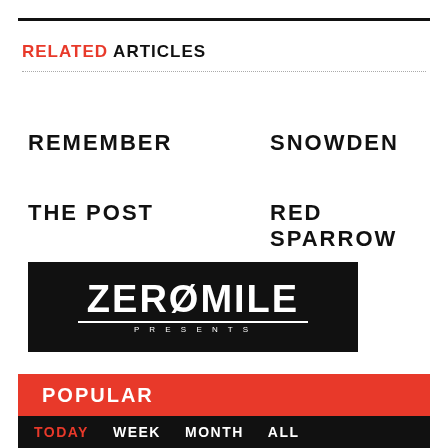RELATED ARTICLES
REMEMBER
SNOWDEN
THE POST
RED SPARROW
[Figure (logo): Zero Mile Presents logo — white text on black background with stylized lettering and 'PRESENTS' subtitle]
POPULAR
TODAY  WEEK  MONTH  ALL